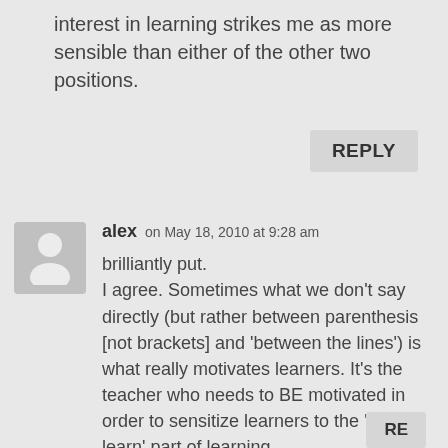interest in learning strikes me as more sensible than either of the other two positions.
REPLY
alex on May 18, 2010 at 9:28 am
brilliantly put.
I agree. Sometimes what we don't say directly (but rather between parenthesis [not brackets] and 'between the lines') is what really motivates learners. It's the teacher who needs to BE motivated in order to sensitize learners to the 'how to learn' part of learning.
[]